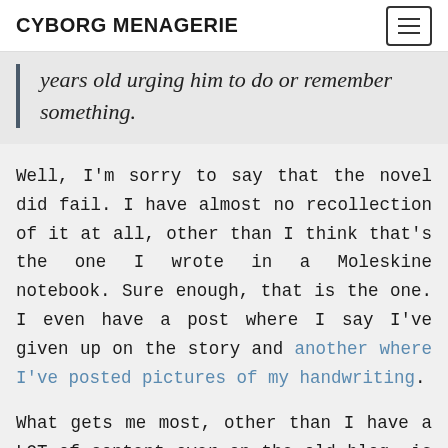CYBORG MENAGERIE
years old urging him to do or remember something.
Well, I'm sorry to say that the novel did fail. I have almost no recollection of it at all, other than I think that's the one I wrote in a Moleskine notebook. Sure enough, that is the one. I even have a post where I say I've given up on the story and another where I've posted pictures of my handwriting.
What gets me most, other than I have a LOT of content over on the old blog, is how foreign all of that stuff feels to me. It's like it was written by another person. Bizarre.